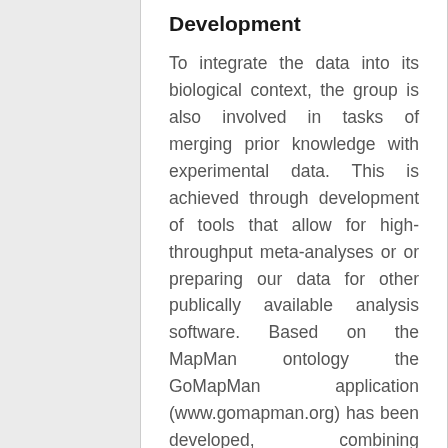Development
To integrate the data into its biological context, the group is also involved in tasks of merging prior knowledge with experimental data. This is achieved through development of tools that allow for high-throughput meta-analyses or or preparing our data for other publically available analysis software. Based on the MapMan ontology the GoMapMan application (www.gomapman.org) has been developed, combining ontological functional descriptors with orthologue information to allow easier transfer between a model organism (Arabidopsis) and various crop plants. Apart from organising genes and their ontology assignments, GoMapMan also